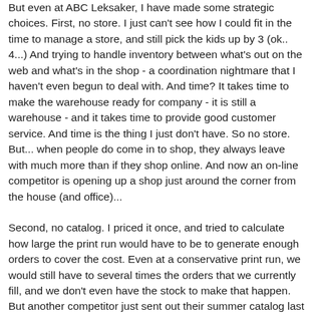But even at ABC Leksaker, I have made some strategic choices. First, no store. I just can't see how I could fit in the time to manage a store, and still pick the kids up by 3 (ok.. 4...) And trying to handle inventory between what's out on the web and what's in the shop - a coordination nightmare that I haven't even begun to deal with. And time? It takes time to make the warehouse ready for company - it is still a warehouse - and it takes time to provide good customer service. And time is the thing I just don't have. So no store. But... when people do come in to shop, they always leave with much more than if they shop online. And now an on-line competitor is opening up a shop just around the corner from the house (and office)...
Second, no catalog. I priced it once, and tried to calculate how large the print run would have to be to generate enough orders to cover the cost. Even at a conservative print run, we would still have to several times the orders that we currently fill, and we don't even have the stock to make that happen. But another competitor just sent out their summer catalog last week, and it was awesome. There were even things in there that I wanted to order...